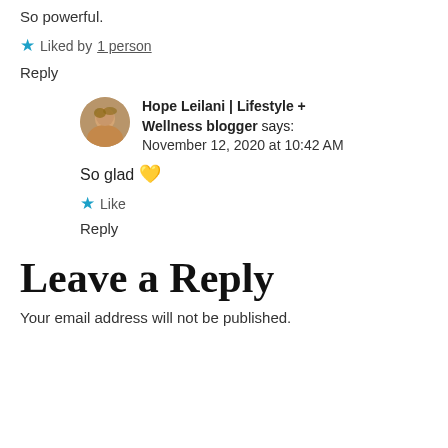So powerful.
★ Liked by 1 person
Reply
Hope Leilani | Lifestyle + Wellness blogger says: November 12, 2020 at 10:42 AM
So glad 💛
★ Like
Reply
Leave a Reply
Your email address will not be published.